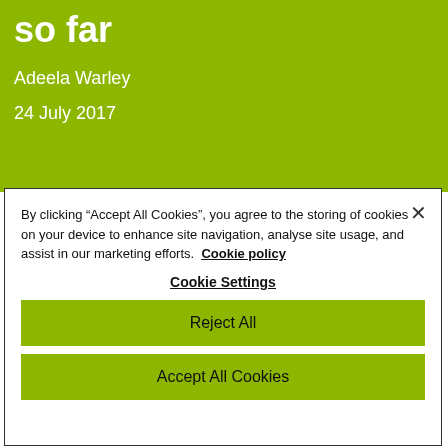so far
Adeela Warley
24 July 2017
By clicking “Accept All Cookies”, you agree to the storing of cookies on your device to enhance site navigation, analyse site usage, and assist in our marketing efforts. Cookie policy
Cookie Settings
Reject All
Accept All Cookies